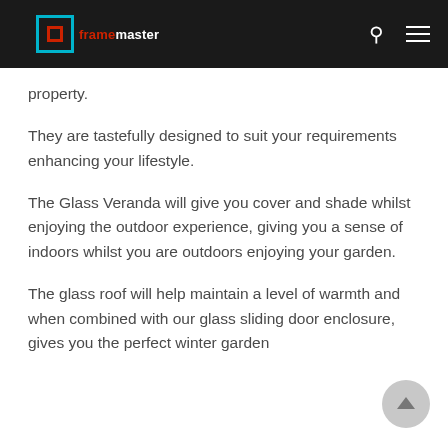framemaster
property.
They are tastefully designed to suit your requirements enhancing your lifestyle.
The Glass Veranda will give you cover and shade whilst enjoying the outdoor experience, giving you a sense of indoors whilst you are outdoors enjoying your garden.
The glass roof will help maintain a level of warmth and when combined with our glass sliding door enclosure, gives you the perfect winter garden